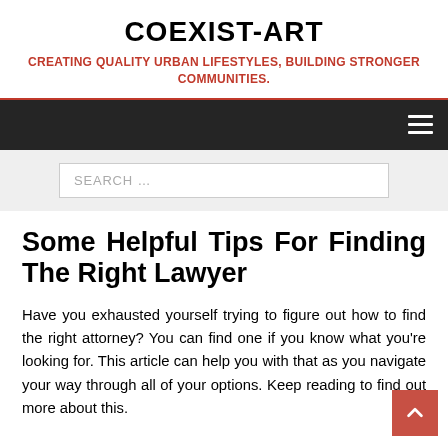COEXIST-ART
CREATING QUALITY URBAN LIFESTYLES, BUILDING STRONGER COMMUNITIES.
SEARCH ...
Some Helpful Tips For Finding The Right Lawyer
Have you exhausted yourself trying to figure out how to find the right attorney? You can find one if you know what you're looking for. This article can help you with that as you navigate your way through all of your options. Keep reading to find out more about this.